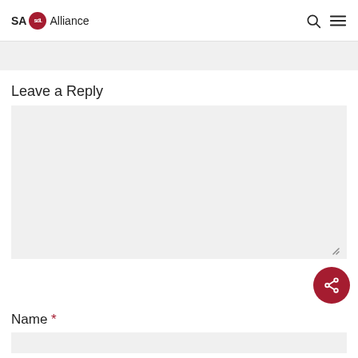SA sdi. Alliance
Leave a Reply
[Comment textarea]
Name *
[Name input field]